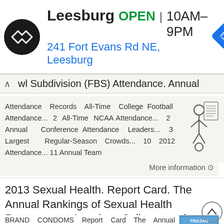[Figure (screenshot): Ad banner for Leesburg store showing logo, OPEN status, hours 10AM-9PM, address 241 Fort Evans Rd NE, Leesburg, and navigation icon]
wl Subdivision (FBS) Attendance. Annual
Attendance Records All-Time College Football Attendance... 2 All-Time NCAA Attendance... 2 Annual Conference Attendance Leaders... 3 Largest Regular-Season Crowds... 10 2012 Attendance... 11 Annual Team
More information ⊙
2013 Sexual Health. Report Card. The Annual Rankings of Sexual Health Resources at American Colleges and
BRAND CONDOMS Report Card The Annual Rankings of Resources at American Colleges and Universities. TOP 10 Report Card 1, 2, 3